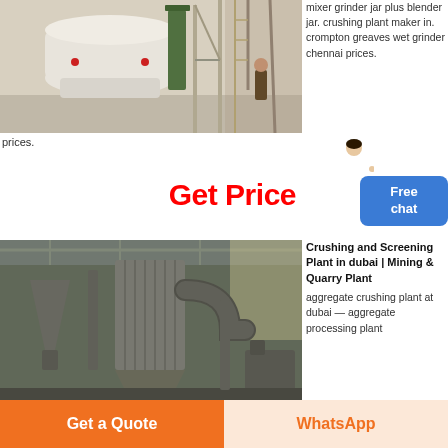[Figure (photo): Industrial grinding/milling machine in a factory setting, white and green equipment]
mixer grinder jar plus blender jar. crushing plant maker in. crompton greaves wet grinder chennai prices.
prices.
Get Price
[Figure (photo): Industrial crushing and screening plant equipment inside a large factory building]
Crushing and Screening Plant in dubai | Mining & Quarry Plant
aggregate crushing plant at dubai — aggregate processing plant